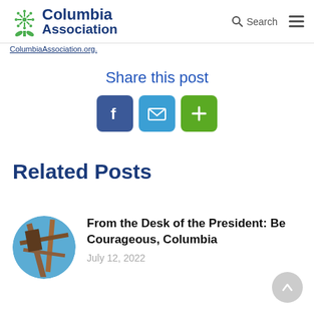Columbia Association — ColumbiaAssociation.org.
ColumbiaAssociation.org.
Share this post
[Figure (infographic): Three share buttons: Facebook (blue), Email (light blue), and Plus/More (green)]
Related Posts
[Figure (photo): Circular thumbnail image showing wooden structure against blue sky]
From the Desk of the President: Be Courageous, Columbia
July 12, 2022